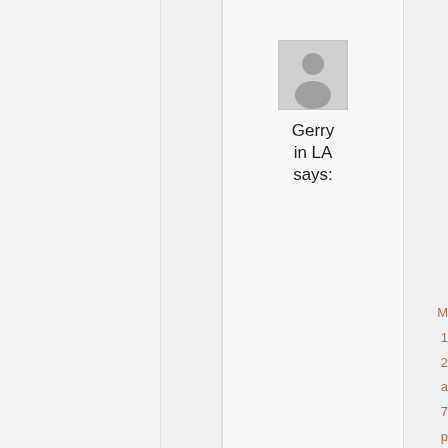[Figure (photo): User avatar placeholder icon — grey square with silhouette of a person]
Gerry in LA says:
M 1 2 a 7 p B W y s t t T s b